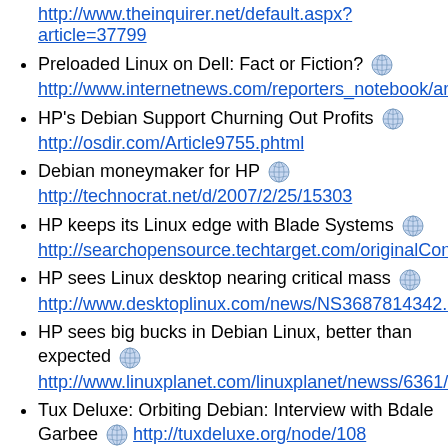http://www.theinquirer.net/default.aspx?article=37799
Preloaded Linux on Dell: Fact or Fiction? http://www.internetnews.com/reporters_notebook/arti
HP's Debian Support Churning Out Profits http://osdir.com/Article9755.phtml
Debian moneymaker for HP http://technocrat.net/d/2007/2/25/15303
HP keeps its Linux edge with Blade Systems http://searchopensource.techtarget.com/originalCont
HP sees Linux desktop nearing critical mass http://www.desktoplinux.com/news/NS3687814342.h
HP sees big bucks in Debian Linux, better than expected http://www.linuxplanet.com/linuxplanet/newss/6361/1
Tux Deluxe: Orbiting Debian: Interview with Bdale Garbee http://tuxdeluxe.org/node/108